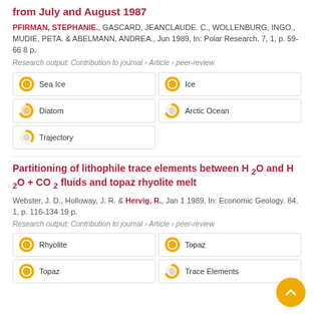from July and August 1987
PFIRMAN, STEPHANIE., GASCARD, JEANCLAUDE. C., WOLLENBURG, INGO., MUDIE, PETA. & ABELMANN, ANDREA., Jun 1989, In: Polar Research. 7, 1, p. 59-66 8 p.
Research output: Contribution to journal › Article › peer-review
Sea Ice
Ice
Diatom
Arctic Ocean
Trajectory
Partitioning of lithophile trace elements between H 2O and H 2O + CO 2 fluids and topaz rhyolite melt
Webster, J. D., Holloway, J. R. & Hervig, R., Jan 1 1989, In: Economic Geology. 84, 1, p. 116-134 19 p.
Research output: Contribution to journal › Article › peer-review
Rhyolite
Topaz
Topaz
Trace Elements